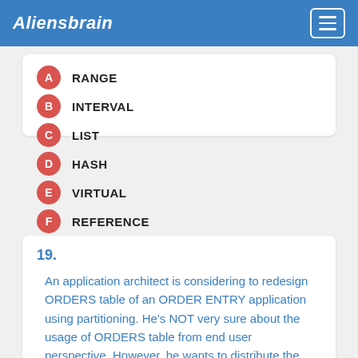Aliensbrain
A  RANGE
B  INTERVAL
C  LIST
D  HASH
E  VIRTUAL
F  REFERENCE
Show answer
19.
An application architect is considering to redesign ORDERS table of an ORDER ENTRY application using partitioning. He's NOT very sure about the usage of ORDERS table from end user perspective. However, he wants to distribute the data equally across all table